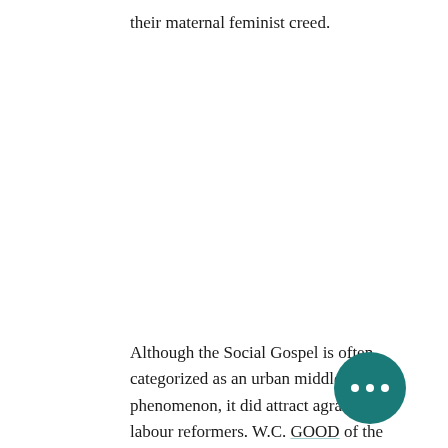their maternal feminist creed.
Although the Social Gospel is often categorized as an urban middle-class phenomenon, it did attract agrarian and labour reformers. W.C. GOOD of the UNITED